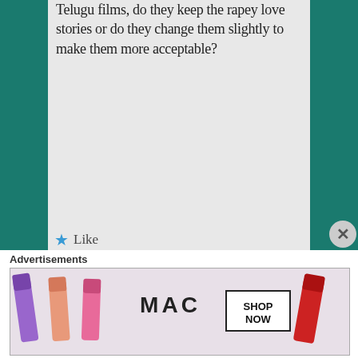Telugu films, do they keep the rapey love stories or do they change them slightly to make them more acceptable?
★ Like
Reply ↓
sheshankjoshi on May 26, 2017 at 9:00 am said:
Advertisements
[Figure (other): MAC cosmetics advertisement banner showing colorful lipsticks and MAC logo with SHOP NOW button]